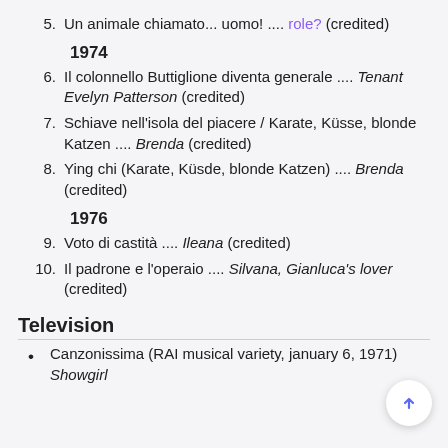5. Un animale chiamato... uomo! .... role? (credited)
1974
6. Il colonnello Buttiglione diventa generale .... Tenant Evelyn Patterson (credited)
7. Schiave nell'isola del piacere / Karate, Küsse, blonde Katzen .... Brenda (credited)
8. Ying chi (Karate, Küsde, blonde Katzen) .... Brenda (credited)
1976
9. Voto di castità .... Ileana (credited)
10. Il padrone e l'operaio .... Silvana, Gianluca's lover (credited)
Television
Canzonissima (RAI musical variety, january 6, 1971) Showgirl